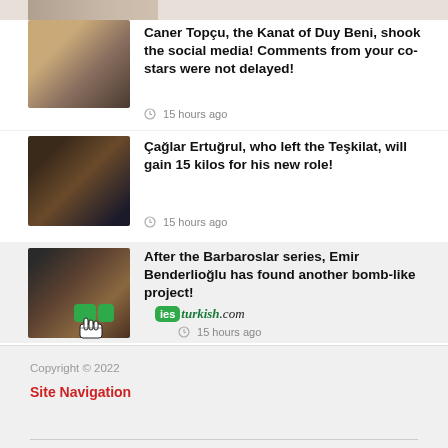[Figure (photo): Partial thumbnail strip at top of page, partially visible person photo]
[Figure (photo): Thumbnail of Caner Topçu, young man in beige t-shirt with bag strap]
Caner Topçu, the Kanat of Duy Beni, shook the social media! Comments from your co-stars were not delayed!
15 hours ago
[Figure (photo): Thumbnail of Çağlar Ertuğrul in black tuxedo with beard]
Çağlar Ertuğrul, who left the Teşkilat, will gain 15 kilos for his new role!
15 hours ago
[Figure (photo): Thumbnail of Emir Benderlioğlu in historical costume from Barbaroslar series]
After the Barbaroslar series, Emir Benderlioğlu has found another bomb-like project!
15 hours ago
[Figure (logo): iesturkish.com watermark logo with green icon and italic text]
Copyright © 2022
Site Navigation